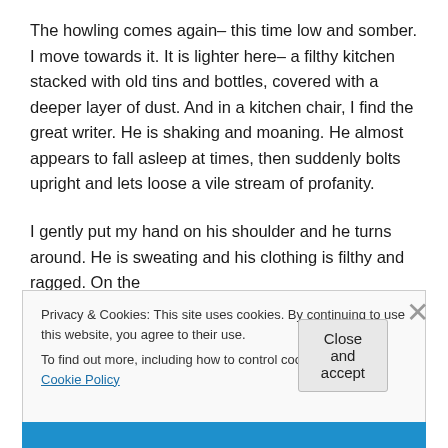The howling comes again– this time low and somber. I move towards it. It is lighter here– a filthy kitchen stacked with old tins and bottles, covered with a deeper layer of dust. And in a kitchen chair, I find the great writer. He is shaking and moaning. He almost appears to fall asleep at times, then suddenly bolts upright and lets loose a vile stream of profanity.
I gently put my hand on his shoulder and he turns around. He is sweating and his clothing is filthy and ragged. On the
Privacy & Cookies: This site uses cookies. By continuing to use this website, you agree to their use.
To find out more, including how to control cookies, see here: Cookie Policy
Close and accept